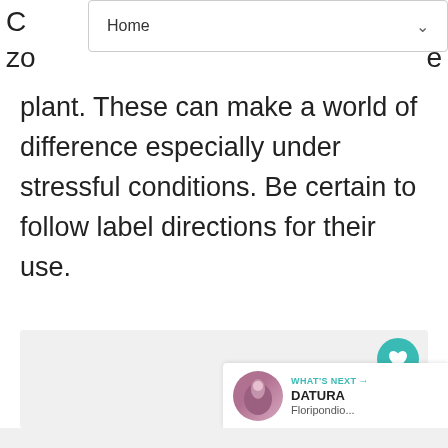Home
plant. These can make a world of difference especially under stressful conditions. Be certain to follow label directions for their use.
[Figure (photo): Large content image area (grey placeholder), with floating heart button showing count 1 and a share button. A 'WHAT'S NEXT → DATURA Floripondio...' panel with thumbnail appears at bottom right.]